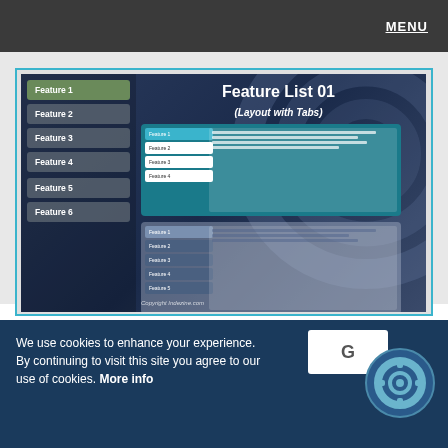MENU
[Figure (screenshot): Screenshot of a PowerPoint slide template titled 'Feature List 01 (Layout with Tabs)' showing a dark blue background slide with feature tabs on the left sidebar (Feature 1 through Feature 6) and two mini slide previews showing tab-based layouts. Copyright Indezine.com.]
We use cookies to enhance your experience. By continuing to visit this site you agree to our use of cookies. More info